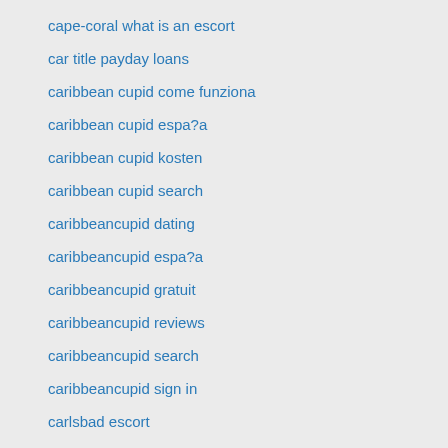cape-coral what is an escort
car title payday loans
caribbean cupid come funziona
caribbean cupid espa?a
caribbean cupid kosten
caribbean cupid search
caribbeancupid dating
caribbeancupid espa?a
caribbeancupid gratuit
caribbeancupid reviews
caribbeancupid search
caribbeancupid sign in
carlsbad escort
carlsbad escort index
carlsbad the escort